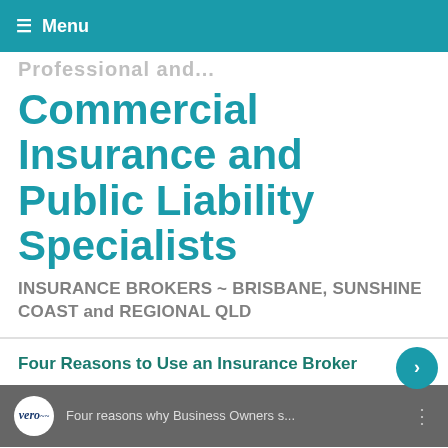☰ Menu
Professional and...
Commercial Insurance and Public Liability Specialists
INSURANCE BROKERS ~ BRISBANE, SUNSHINE COAST and REGIONAL QLD
Four Reasons to Use an Insurance Broker
[Figure (screenshot): Video thumbnail showing Vero logo and text: Four reasons why Business Owners s...]